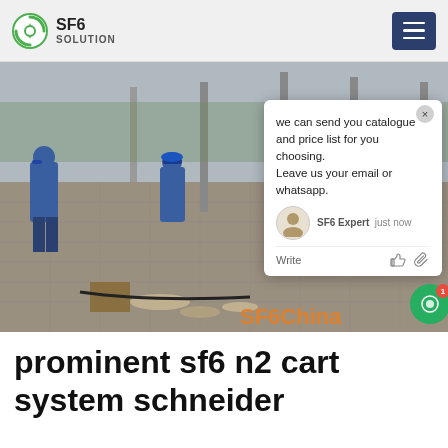SF6 SOLUTION
[Figure (photo): Workers in blue uniforms and hard hats working at an electrical substation yard with metal poles and paved ground. Various equipment and cables visible on the ground. A chat popup overlay is visible on the right side of the image with text: 'we can send you catalogue and price list for you choosing. Leave us your email or whatsapp.' with agent 'SF6 Expert' and timestamp 'just now'. A watermark 'SF6China' appears in the bottom right corner.]
prominent sf6 n2 cart system schneider